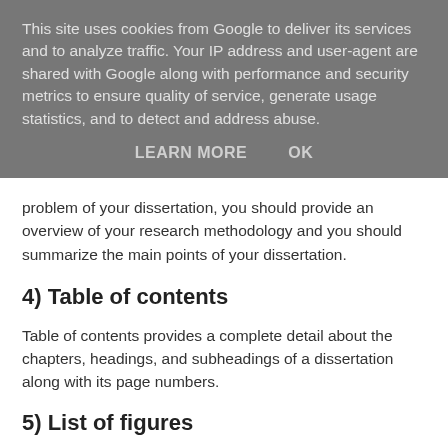This site uses cookies from Google to deliver its services and to analyze traffic. Your IP address and user-agent are shared with Google along with performance and security metrics to ensure quality of service, generate usage statistics, and to detect and address abuse.
LEARN MORE   OK
problem of your dissertation, you should provide an overview of your research methodology and you should summarize the main points of your dissertation.
4) Table of contents
Table of contents provides a complete detail about the chapters, headings, and subheadings of a dissertation along with its page numbers.
5) List of figures
It is an optional page. If you have placed some figures in your dissertation, you will have to provide detail about these